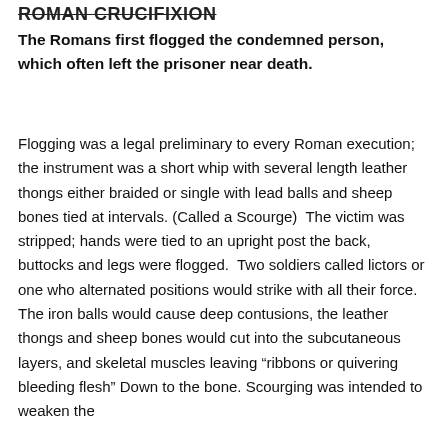ROMAN CRUCIFIXION
The Romans first flogged the condemned person, which often left the prisoner near death.
Flogging was a legal preliminary to every Roman execution; the instrument was a short whip with several length leather thongs either braided or single with lead balls and sheep bones tied at intervals. (Called a Scourge)  The victim was stripped; hands were tied to an upright post the back, buttocks and legs were flogged.  Two soldiers called lictors or one who alternated positions would strike with all their force.  The iron balls would cause deep contusions, the leather thongs and sheep bones would cut into the subcutaneous layers, and skeletal muscles leaving “ribbons or quivering bleeding flesh” Down to the bone. Scourging was intended to weaken the